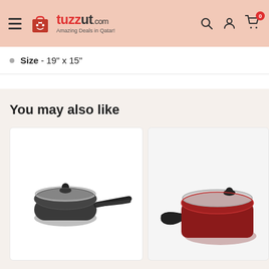tuzzut.com Amazing Deals in Qatar! - Navigation header with search, account, and cart icons
Size - 19" x 15"
You may also like
[Figure (photo): Black non-stick saucepan with glass lid and black handle]
[Figure (photo): Red/maroon non-stick pot with glass lid and black handles, partially visible]